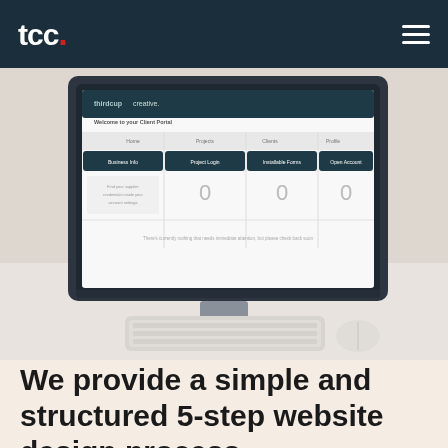tcc.
[Figure (screenshot): A desktop computer monitor displaying a client portal website for 'thirdcupcreative.' with navigation, dashboard panels showing zeros, and a keyboard and mouse in the foreground on a white desk.]
We provide a simple and structured 5-step website design process